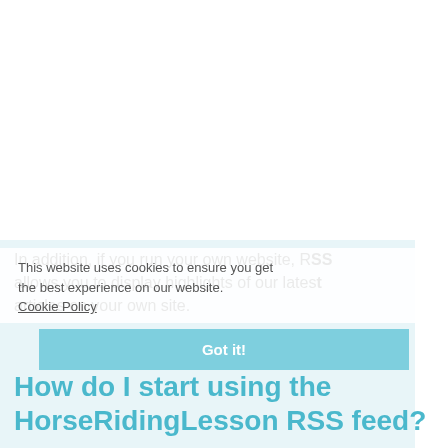In addition, if you run your own website, RSS allows you to display highlights of our latest articles on your own site.
This website uses cookies to ensure you get the best experience on our website. Cookie Policy
Got it!
How do I start using the HorseRidingLesson RSS feed?